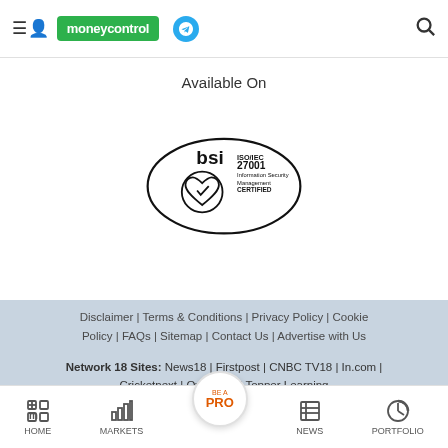moneycontrol
Available On
[Figure (logo): BSI ISO/IEC 27001 Information Security Management Certified logo]
Disclaimer | Terms & Conditions | Privacy Policy | Cookie Policy | FAQs | Sitemap | Contact Us | Advertise with Us
Network 18 Sites: News18 | Firstpost | CNBC TV18 | In.com | Cricketnext | Overdrive | Topper Learning
Copyright © e-Eighteen.com Ltd
All rights resderved. Reproduction of news articles, photos, videos or any other content in whole or in part in any form or medium without express writtern permission of moneycontrol.com is prohibited.
HOME | MARKETS | BE A PRO | NEWS | PORTFOLIO